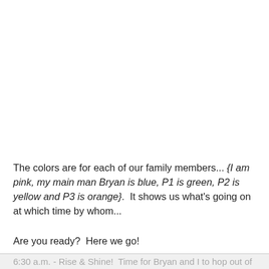The colors are for each of our family members... {I am pink, my main man Bryan is blue, P1 is green, P2 is yellow and P3 is orange}.  It shows us what's going on at which time by whom...
Are you ready?  Here we go!
6:30 a.m. - Rise & Shine!  Time for Bryan and I to hop out of bed and take on a new day!